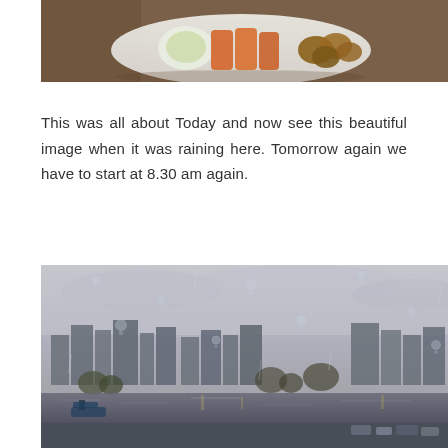[Figure (photo): Photo of food on a plate — items include what appears to be sliced orange/red fruit (papaya or similar), a white/green item, and brown cooked items, on a light background with woven mat texture visible]
This was all about Today and now see this beautiful image when it was raining here. Tomorrow again we have to start at 8.30 am again.
[Figure (photo): Photo taken through a rain-streaked window or glass showing a cityscape with buildings, a river or lake reflecting the skyline, trees, cars/vehicles on a road to the right, overcast rainy sky above. Raindrops visible on the glass in the foreground.]